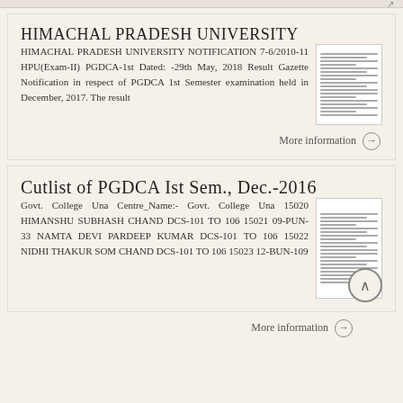HIMACHAL PRADESH UNIVERSITY
HIMACHAL PRADESH UNIVERSITY NOTIFICATION 7-6/2010-11 HPU(Exam-II) PGDCA-1st Dated: -29th May, 2018 Result Gazette Notification in respect of PGDCA 1st Semester examination held in December, 2017. The result
More information →
Cutlist of PGDCA Ist Sem., Dec.-2016
Govt. College Una Centre_Name:- Govt. College Una 15020 HIMANSHU SUBHASH CHAND DCS-101 TO 106 15021 09-PUN-33 NAMTA DEVI PARDEEP KUMAR DCS-101 TO 106 15022 NIDHI THAKUR SOM CHAND DCS-101 TO 106 15023 12-BUN-109
More information →